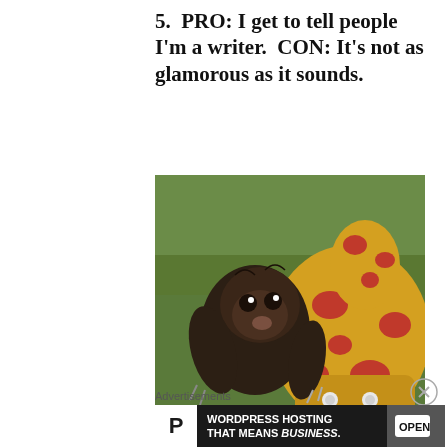5.  PRO: I get to tell people I'm a writer.  CON: It's not as glamorous as it sounds.
[Figure (photo): Baby sloth hugging a yellow and red spotted stuffed giraffe toy, with green grass in background]
Advertisements
[Figure (other): Advertisement banner: P logo box, text 'WORDPRESS HOSTING THAT MEANS BUSINESS.' and an OPEN sign image]